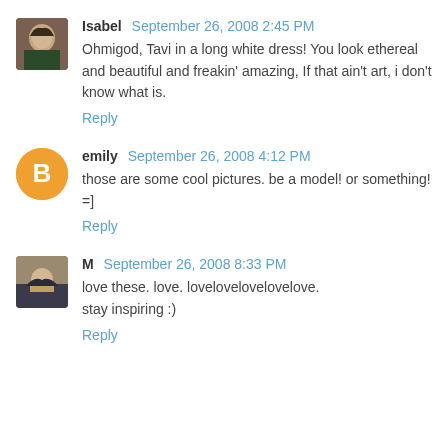[Figure (photo): Avatar image of Isabel - small portrait photo]
Isabel September 26, 2008 2:45 PM
Ohmigod, Tavi in a long white dress! You look ethereal and beautiful and freakin' amazing, If that ain't art, i don't know what is.
Reply
[Figure (photo): Generic blogger avatar - orange circle with B icon]
emily September 26, 2008 4:12 PM
those are some cool pictures. be a model! or something! =]
Reply
[Figure (photo): Avatar image of M - small portrait photo]
M September 26, 2008 8:33 PM
love these. love. lovelovelovelovelove.
stay inspiring :)
Reply